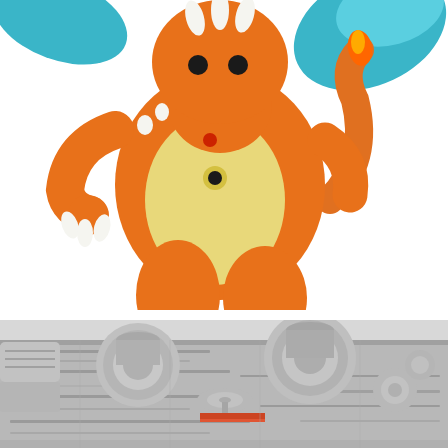[Figure (photo): Close-up photo of a Charizard Pokemon toy figure. The figure is orange with a cream/yellow belly, blue wings visible at the top, white horn-like spikes on the head and claws, and small red dot details. The toy is posed in an upright standing position against a white background.]
[Figure (photo): Close-up photo of a Star Wars Millennium Falcon model/toy spacecraft. The view shows the top surface of the ship in a low-angle perspective, revealing the grey paneled hull with cylindrical turrets, a radar dish, and red/orange accent markings. The model has a detailed, weathered metallic appearance.]